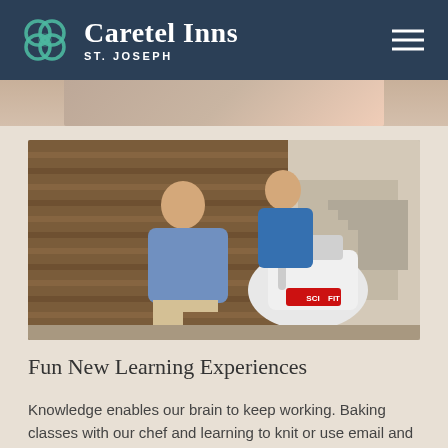Caretel Inns ST. JOSEPH
[Figure (photo): Partial view of a photo at the top of the content area, showing two people.]
[Figure (photo): An elderly man using a SCIFIT exercise machine while a female therapist in a blue polo shirt assists him. They are in a gym/therapy room with wooden slat wall panels in the background.]
Fun New Learning Experiences
Knowledge enables our brain to keep working. Baking classes with our chef and learning to knit or use email and social